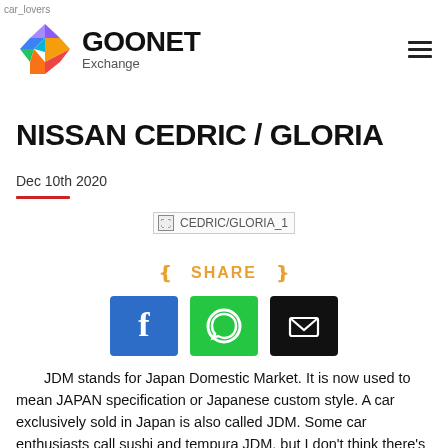car_lovers
[Figure (logo): GOONET Exchange logo with colorful diamond/chevron shape and bold GOONET text, hamburger menu icon on right]
NISSAN CEDRIC / GLORIA
Dec 10th 2020
[Figure (photo): Broken image placeholder labeled CEDRIC/GLORIA_1]
SHARE
[Figure (infographic): Social share buttons: Facebook, WhatsApp, Email]
JDM stands for Japan Domestic Market. It is now used to mean JAPAN specification or Japanese custom style. A car exclusively sold in Japan is also called JDM. Some car enthusiasts call sushi and tempura JDM, but I don't think there's anything wrong with that.